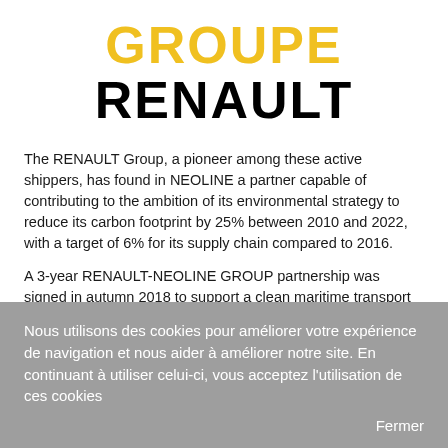GROUPE RENAULT
The RENAULT Group, a pioneer among these active shippers, has found in NEOLINE a partner capable of contributing to the ambition of its environmental strategy to reduce its carbon footprint by 25% between 2010 and 2022, with a target of 6% for its supply chain compared to 2016.
A 3-year RENAULT-NEOLINE GROUP partnership was signed in autumn 2018 to support a clean maritime transport solution using wind propulsion, thus contributing to the environmental management of the group's supply chain.
Nous utilisons des cookies pour améliorer votre expérience de navigation et nous aider à améliorer notre site. En continuant à utiliser celui-ci, vous acceptez l'utilisation de ces cookies
Fermer